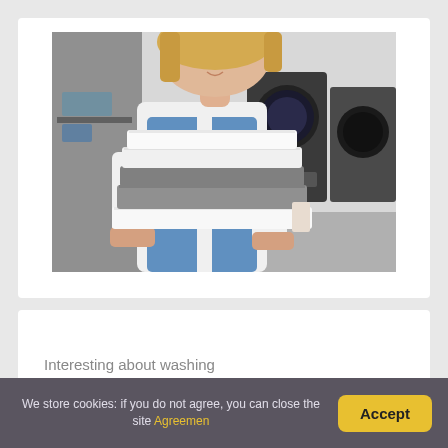[Figure (photo): A smiling blonde woman in a blue apron holding a stack of folded white and gray towels/linens in a laundromat with large washing machines visible in the background.]
Interesting about washing
We store cookies: if you do not agree, you can close the site Agreemen